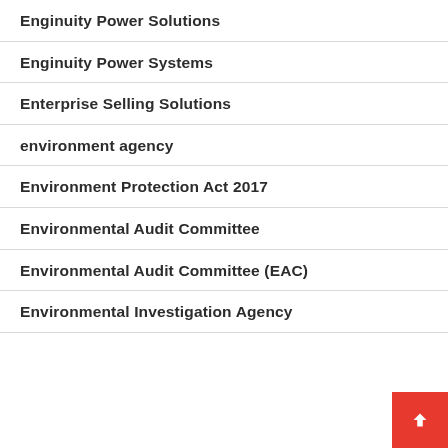Enginuity Power Solutions
Enginuity Power Systems
Enterprise Selling Solutions
environment agency
Environment Protection Act 2017
Environmental Audit Committee
Environmental Audit Committee (EAC)
Environmental Investigation Agency